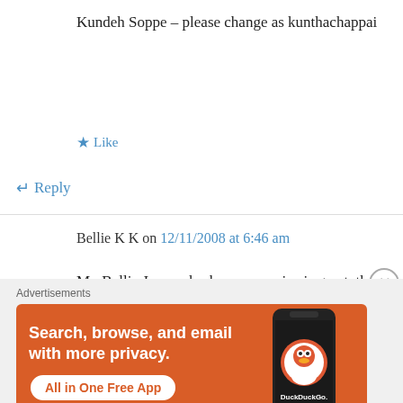Kundeh Soppe – please change as kunthachappai
★ Like
↵ Reply
Bellie K K on 12/11/2008 at 6:46 am
Mr. Bellie Jayaprakash, your service is great, thank you.
★ Like
Advertisements
[Figure (illustration): DuckDuckGo advertisement banner with orange background. Text: 'Search, browse, and email with more privacy. All in One Free App'. Shows a smartphone with DuckDuckGo logo.]